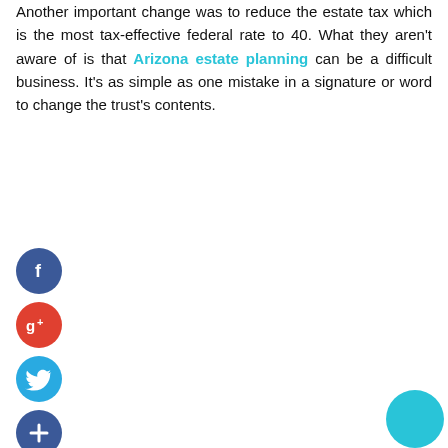Another important change was to reduce the estate tax which is the most tax-effective federal rate to 40. What they aren't aware of is that Arizona estate planning can be a difficult business. It's as simple as one mistake in a signature or word to change the trust's contents.
[Figure (infographic): Four social media icon circles stacked vertically: Facebook (dark blue, f), Google+ (red, g+), Twitter (light blue, bird), and Add/share (dark blue, +). A teal circle in the bottom-right corner.]